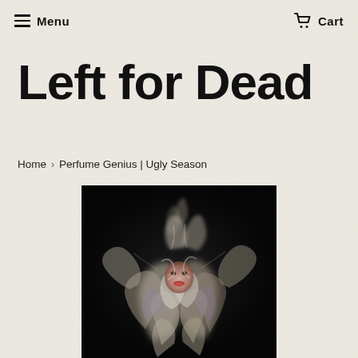Menu   Cart
Left for Dead
Home › Perfume Genius | Ugly Season
[Figure (photo): Album cover art for Perfume Genius 'Ugly Season' — an abstract swirling figure with a faint face visible in the center, rendered in smoky whites, blacks, and hints of color against a dark background]